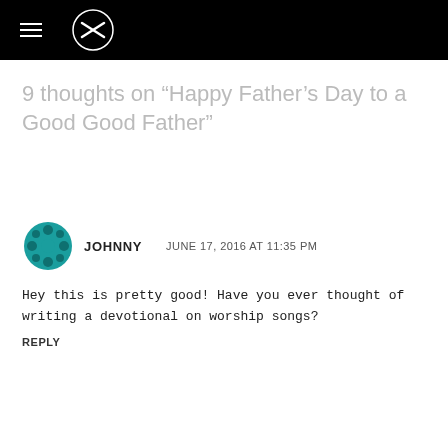Navigation bar with hamburger menu and logo
9 thoughts on “Happy Father’s Day to a Good Good Father”
JOHNNY   JUNE 17, 2016 AT 11:35 PM
Hey this is pretty good! Have you ever thought of writing a devotional on worship songs?
REPLY